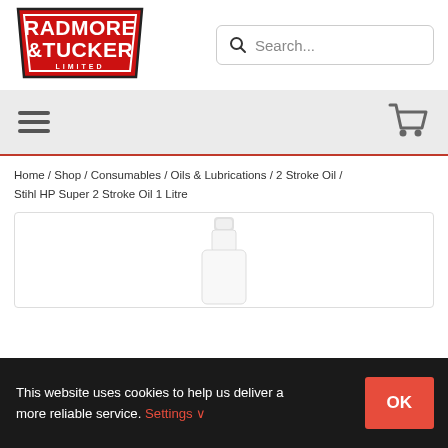[Figure (logo): Radmore & Tucker Limited logo — red trapezoid shape with white bold text RADMORE & TUCKER and LIMITED below]
[Figure (screenshot): Search input box with magnifying glass icon and placeholder text 'Search...']
[Figure (other): Grey navigation bar with hamburger menu icon on the left and shopping cart icon on the right]
Home / Shop / Consumables / Oils & Lubrications / 2 Stroke Oil / Stihl HP Super 2 Stroke Oil 1 Litre
[Figure (photo): Product image showing the top of a white plastic bottle of Stihl HP Super 2 Stroke Oil 1 Litre]
This website uses cookies to help us deliver a more reliable service. Settings ∨ OK